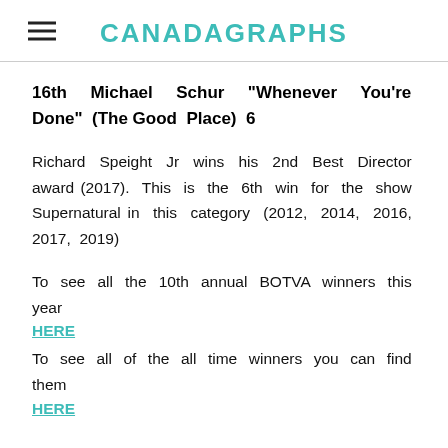CANADAGRAPHS
16th Michael Schur "Whenever You're Done" (The Good Place) 6
Richard Speight Jr wins his 2nd Best Director award (2017). This is the 6th win for the show Supernatural in this category (2012, 2014, 2016, 2017, 2019)
To see all the 10th annual BOTVA winners this year
HERE
To see all of the all time winners you can find them
HERE